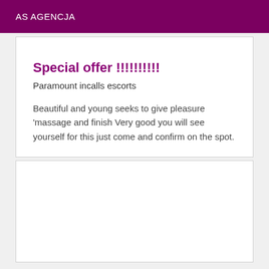AS AGENCJA
Special offer !!!!!!!!!!
Paramount incalls escorts
Beautiful and young seeks to give pleasure ‘massage and finish Very good you will see yourself for this just come and confirm on the spot.